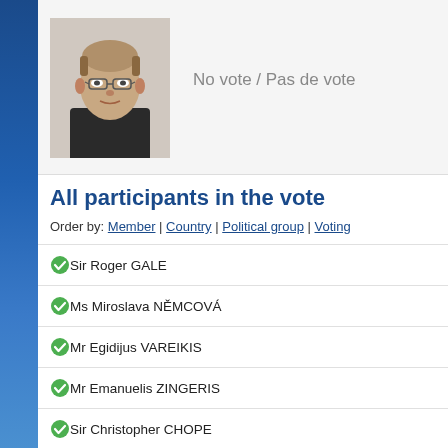[Figure (photo): Headshot photo of a middle-aged man with glasses and short hair wearing a dark jacket]
No vote / Pas de vote
All participants in the vote
Order by: Member | Country | Political group | Voting
Sir Roger GALE
Ms Miroslava NĚMCOVÁ
Mr Egidijus VAREIKIS
Mr Emanuelis ZINGERIS
Sir Christopher CHOPE
Mr Nigel EVANS
Mr Serhii SOBOLIEV
Mr Giorgi KANDELAKI